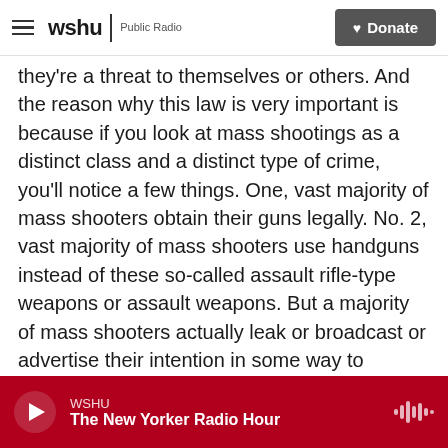wshu | Public Radio — Donate
they're a threat to themselves or others. And the reason why this law is very important is because if you look at mass shootings as a distinct class and a distinct type of crime, you'll notice a few things. One, vast majority of mass shooters obtain their guns legally. No. 2, vast majority of mass shooters use handguns instead of these so-called assault rifle-type weapons or assault weapons. But a majority of mass shooters actually leak or broadcast or advertise their intention in some way to commit murder. And so red flag laws are designed to deal with this situation where someone is sort of radiating this threat to the rest of the
WSHU — The New Yorker Radio Hour